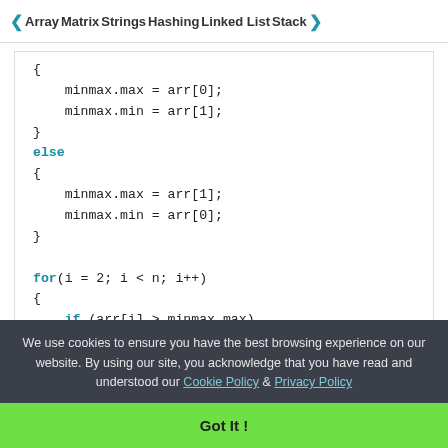◀ Array   Matrix   Strings   Hashing   Linked List   Stack ▶
We use cookies to ensure you have the best browsing experience on our website. By using our site, you acknowledge that you have read and understood our Cookie Policy & Privacy Policy
Got It !